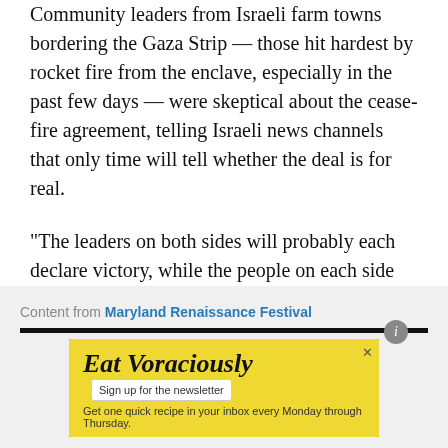Community leaders from Israeli farm towns bordering the Gaza Strip — those hit hardest by rocket fire from the enclave, especially in the past few days — were skeptical about the cease-fire agreement, telling Israeli news channels that only time will tell whether the deal is for real.
“The leaders on both sides will probably each declare victory, while the people on each side do not feel like they are victors at all,” said Miri Eisin, a former army colonel who served as the deputy head of Israel’s combat intelligence corps.
Content from Maryland Renaissance Festival
[Figure (other): Advertisement for Eat Voraciously newsletter with yellow background. Text reads: 'Eat Voraciously' with 'Sign up for the newsletter' button. Subtext: 'Get one quick recipe in your inbox every Monday through Thursday.']